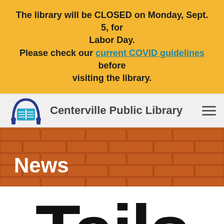The library will be CLOSED on Monday, Sept. 5, for Labor Day. Please check our current COVID guidelines before visiting the library.
[Figure (logo): Centerville Public Library logo: blue arch with open book icon, followed by text 'Centerville Public Library' and hamburger menu icon]
News
Tails